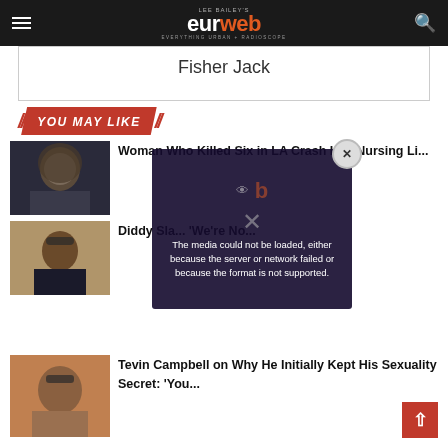Lee Bailey's EURweb - Everything Urban + Radioscope
Fisher Jack
YOU MAY LIKE
Woman Who Killed Six in LA Crash Has Nursing Li...
[Figure (photo): Woman with loc hairstyle, court appearance photo]
Diddy Sla... 'We're No...
[Figure (photo): Man with glasses in dark shirt]
[Figure (screenshot): Video player error overlay: The media could not be loaded, either because the server or network failed or because the format is not supported.]
Tevin Campbell on Why He Initially Kept His Sexuality Secret: 'You...
[Figure (photo): Smiling man with glasses and short hair]